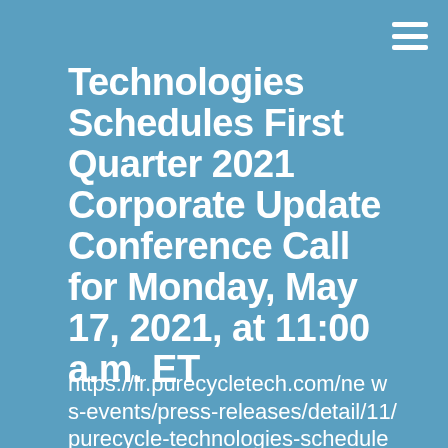Technologies Schedules First Quarter 2021 Corporate Update Conference Call for Monday, May 17, 2021, at 11:00 a.m. ET
https://ir.purecycletech.com/news-events/press-releases/detail/11/purecycle-technologies-schedules-first-